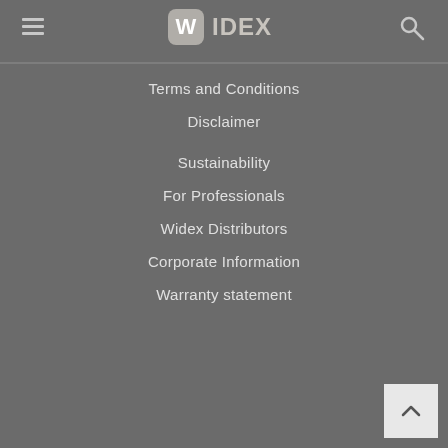[Figure (logo): Widex logo - stylized W in rounded square with WIDEX text]
Terms and Conditions
Disclaimer
Sustainability
For Professionals
Widex Distributors
Corporate Information
Warranty statement